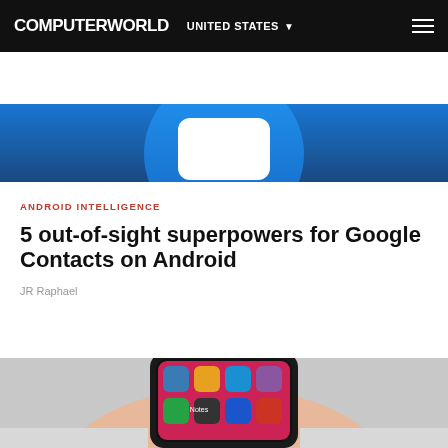COMPUTERWORLD  UNITED STATES
[Figure (photo): Hero image of Google Contacts app icon — white rounded rectangle card on a blue circle against a dark blue gradient background]
ANDROID INTELLIGENCE
5 out-of-sight superpowers for Google Contacts on Android
JR Raphael
[Figure (photo): Photo of a hand holding a smartphone showing a colorful app grid including Notes, WhatsApp and other apps]